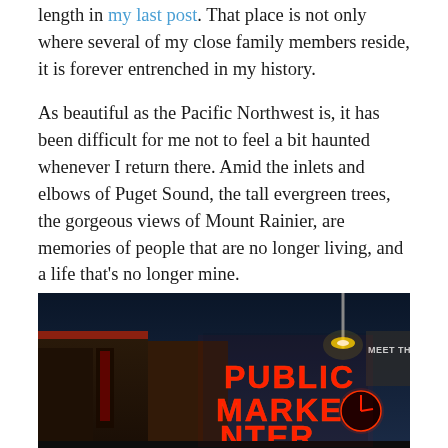length in my last post. That place is not only where several of my close family members reside, it is forever entrenched in my history.
As beautiful as the Pacific Northwest is, it has been difficult for me not to feel a bit haunted whenever I return there. Amid the inlets and elbows of Puget Sound, the tall evergreen trees, the gorgeous views of Mount Rainier, are memories of people that are no longer living, and a life that's no longer mine.
[Figure (photo): Night-time photograph of the Pike Place Public Market sign in Seattle, with neon letters reading PUBLIC MARKET CENTER and a clock, against a dark blue sky. Building facades visible on the left, and a partial sign reading MEET THE on the right.]